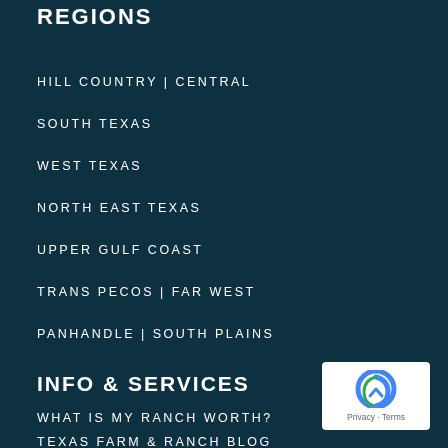REGIONS
HILL COUNTRY | CENTRAL
SOUTH TEXAS
WEST TEXAS
NORTH EAST TEXAS
UPPER GULF COAST
TRANS PECOS | FAR WEST
PANHANDLE | SOUTH PLAINS
INFO & SERVICES
WHAT IS MY RANCH WORTH?
TEXAS FARM & RANCH BLOG
[Figure (logo): reCAPTCHA badge with Privacy and Terms text]